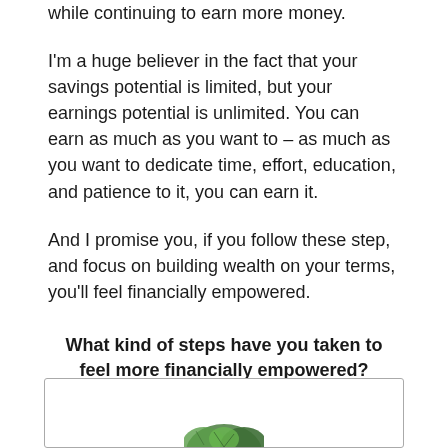while continuing to earn more money.
I'm a huge believer in the fact that your savings potential is limited, but your earnings potential is unlimited. You can earn as much as you want to – as much as you want to dedicate time, effort, education, and patience to it, you can earn it.
And I promise you, if you follow these step, and focus on building wealth on your terms, you'll feel financially empowered.
What kind of steps have you taken to feel more financially empowered?
[Figure (photo): A decorative image at the bottom of the page, partially visible, showing a plant or leaf motif inside a rounded rectangle border.]